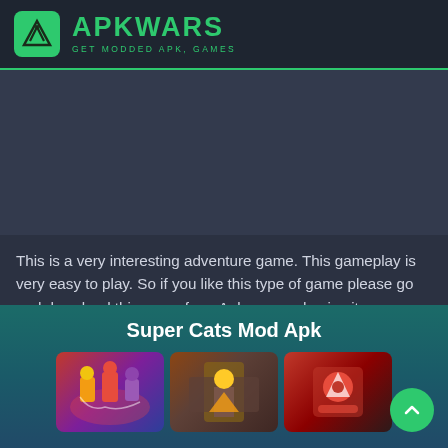APKWARS — GET MODDED APK, GAMES
[Figure (other): Advertisement banner placeholder area (dark background)]
This is a very interesting adventure game. This gameplay is very easy to play. So if you like this type of game please go and download this game from Apkwars and enjoy it.
Super Cats Mod Apk
[Figure (illustration): Three game screenshot cards showing Super Cats game artwork]